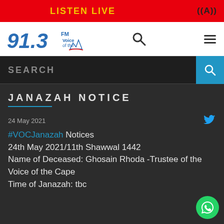LISTEN LIVE
[Figure (logo): 91.3 FM Voice of the Cape radio station logo]
SEARCH
JANAZAH NOTICE
24 May 2021
#VOCJanazah Notices
24th May 2021/11th Shawwal 1442
Name of Deceased: Ghosain Rhoda -Trustee of the Voice of the Cape
Time of Janazah: tbc